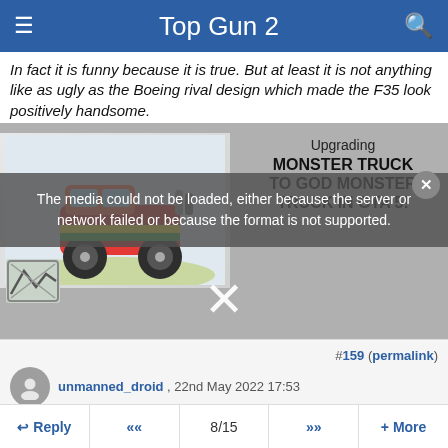Top Gun 2
In fact it is funny because it is true. But at least it is not anything like as ugly as the Boeing rival design which made the F35 look positively handsome.
[Figure (screenshot): Video thumbnail showing a colorful monster truck image with text 'Upgrading MONSTER TRUCK to GOD MONSTER TRUCK in GTA 5!' and an error overlay reading 'The media could not be loaded, either because the server or network failed or because the format is not supported.' with a large X dismiss button.]
#159 (permalink)
unmanned_droid , 22nd May 2022 17:53
I would like to have been able to watch a remastered Topgun on the big screen before seeing the new one.
Reply  «  8/15  »  + More